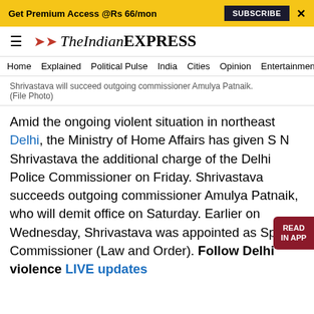Get Premium Access @Rs 66/mon   SUBSCRIBE   X
The Indian EXPRESS
Home  Explained  Political Pulse  India  Cities  Opinion  Entertainment
Shrivastava will succeed outgoing commissioner Amulya Patnaik. (File Photo)
Amid the ongoing violent situation in northeast Delhi, the Ministry of Home Affairs has given S N Shrivastava the additional charge of the Delhi Police Commissioner on Friday. Shrivastava succeeds outgoing commissioner Amulya Patnaik, who will demit office on Saturday. Earlier on Wednesday, Shrivastava was appointed as Special Commissioner (Law and Order). Follow Delhi violence LIVE updates